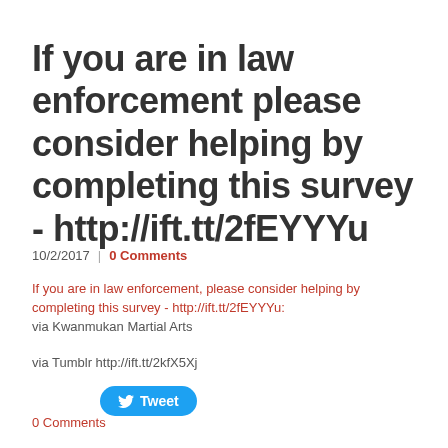If you are in law enforcement please consider helping by completing this survey - http://ift.tt/2fEYYYu
10/2/2017 | 0 Comments
If you are in law enforcement, please consider helping by completing this survey - http://ift.tt/2fEYYYu:
via Kwanmukan Martial Arts
via Tumblr http://ift.tt/2kfX5Xj
[Figure (other): Tweet button with Twitter bird icon]
0 Comments